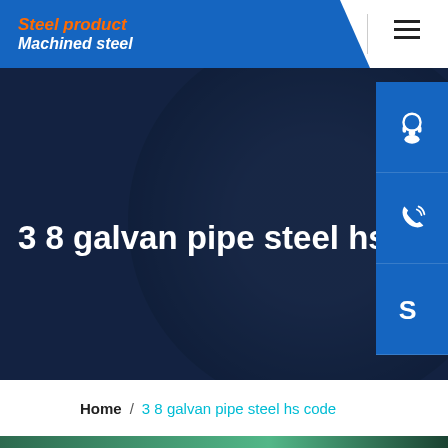Steel product / Machined steel
3 8 galvan pipe steel hs code
Home / 3 8 galvan pipe steel hs code
[Figure (photo): Industrial steel manufacturing facility interior showing steel beams and green structural supports]